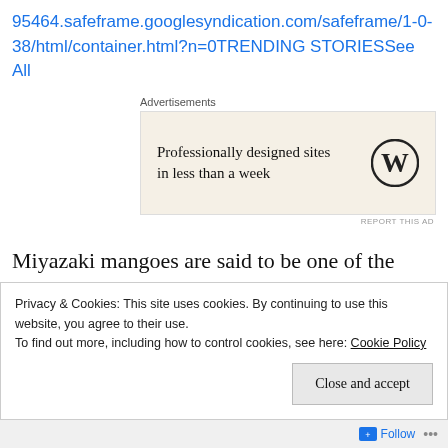95464.safeframe.googlesyndication.com/safeframe/1-0-38/html/container.html?n=0TRENDING STORIESSee All
Advertisements
[Figure (other): Advertisement box with WordPress logo and text 'Professionally designed sites in less than a week']
REPORT THIS AD
Miyazaki mangoes are said to be one of the most expensive breeds of mangoes in the world. Also known as an egg of the sun, the Miyazaki mangoes sold at ₹2.70 lakh per kilogram in the international market
Privacy & Cookies: This site uses cookies. By continuing to use this website, you agree to their use.
To find out more, including how to control cookies, see here: Cookie Policy
Close and accept